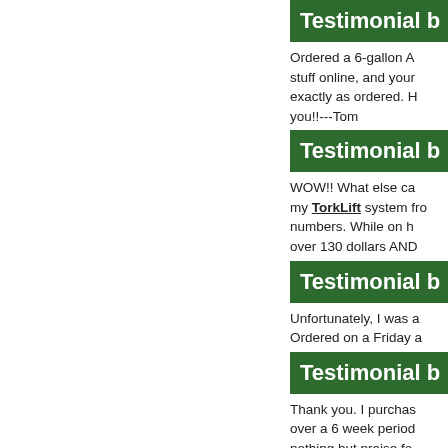Testimonial b
Ordered a 6-gallon A... stuff online, and your... exactly as ordered. H... you!!---Tom
Testimonial b
WOW!! What else ca... my TorkLift system fro... numbers. While on h... over 130 dollars AND...
Testimonial b
Unfortunately, I was a... Ordered on a Friday a...
Testimonial b
Thank you. I purchas... over a 6 week period... nothing but praise fo... superior. I highly reco...
Testimonial b